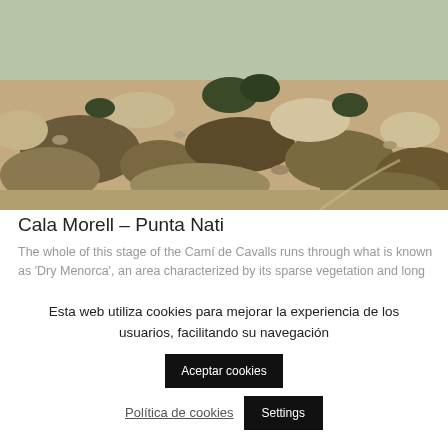[Figure (photo): Rocky terrain landscape with sparse dry vegetation, stones and shrubs, typical of Dry Menorca landscape]
Cala Morell – Punta Nati
The whole of this stage of the Camí de Cavalls runs through what is known as 'Dry Menorca', an area characterized by its sparse vegetation and long lines of dry-stone walls only interrupted by stone huts...
[Figure (photo): Partially visible second image with light grey/white sky tones]
Esta web utiliza cookies para mejorar la experiencia de los usuarios, facilitando su navegación
Aceptar cookies
Política de cookies
Settings